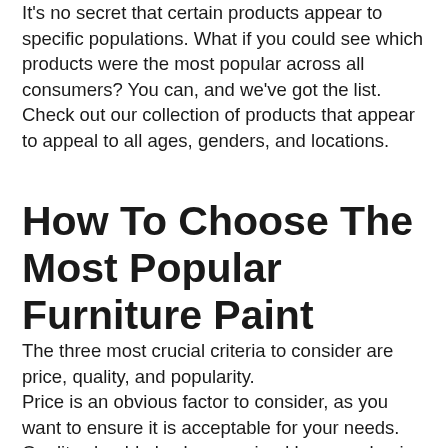It's no secret that certain products appear to specific populations. What if you could see which products were the most popular across all consumers? You can, and we've got the list. Check out our collection of products that appear to appeal to all ages, genders, and locations.
How To Choose The Most Popular Furniture Paint
The three most crucial criteria to consider are price, quality, and popularity.
Price is an obvious factor to consider, as you want to ensure it is acceptable for your needs.
Quality should also be examined because buying a low-quality goods will not help you